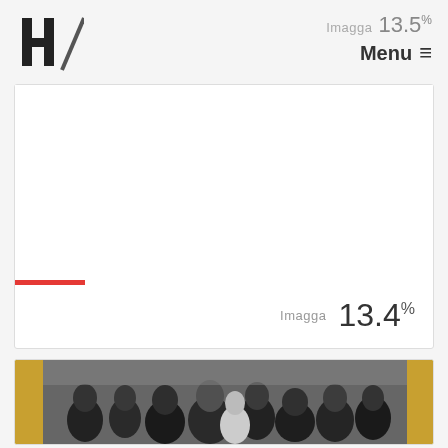H/ logo with Menu ≡ navigation. Imagga 13.5%
[Figure (screenshot): White card with a red progress bar at the bottom left, showing an image analysis result with Imagga score 13.4%]
Imagga 13.4%
[Figure (photo): Partial view of a black and white photograph showing a crowd of people at what appears to be a formal event or dance, with gold/yellow border strips on left and right sides.]